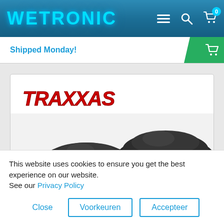WETRONIC
Shipped Monday!
[Figure (logo): Traxxas brand logo in red italic styled lettering]
[Figure (photo): Two black rubber dome-shaped caps/stoppers of different sizes on white background]
This website uses cookies to ensure you get the best experience on our website.
See our Privacy Policy
Close
Voorkeuren
Accepteer